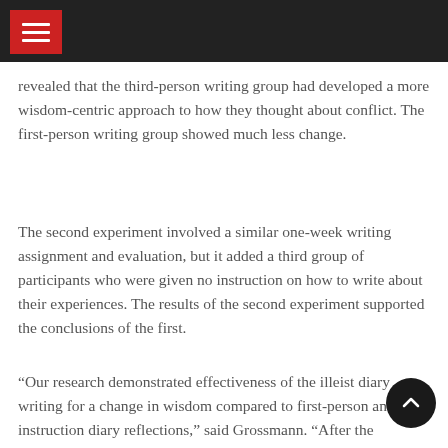revealed that the third-person writing group had developed a more wisdom-centric approach to how they thought about conflict. The first-person writing group showed much less change.
The second experiment involved a similar one-week writing assignment and evaluation, but it added a third group of participants who were given no instruction on how to write about their experiences. The results of the second experiment supported the conclusions of the first.
“Our research demonstrated effectiveness of the illeist diary writing for a change in wisdom compared to first-person and no-instruction diary reflections,” said Grossmann. “After the intervention, distanced